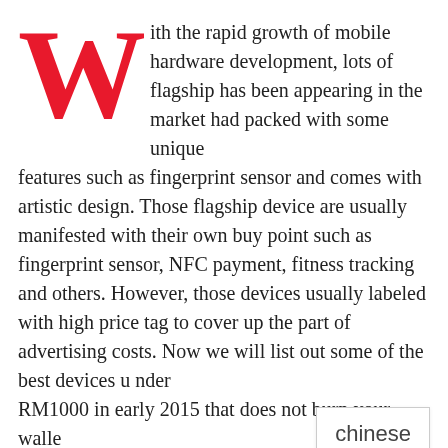With the rapid growth of mobile hardware development, lots of flagship has been appearing in the market had packed with some unique features such as fingerprint sensor and comes with artistic design. Those flagship device are usually manifested with their own buy point such as fingerprint sensor, NFC payment, fitness tracking and others. However, those devices usually labeled with high price tag to cover up the part of advertising costs. Now we will list out some of the best devices under RM1000 in early 2015 that does not burn your wallet!
1. Meizu M1 Note – RM 699
[Figure (photo): Broken image placeholder at the bottom of the page]